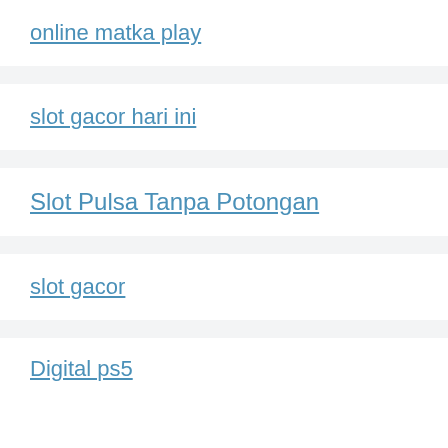online matka play
slot gacor hari ini
Slot Pulsa Tanpa Potongan
slot gacor
Digital ps5